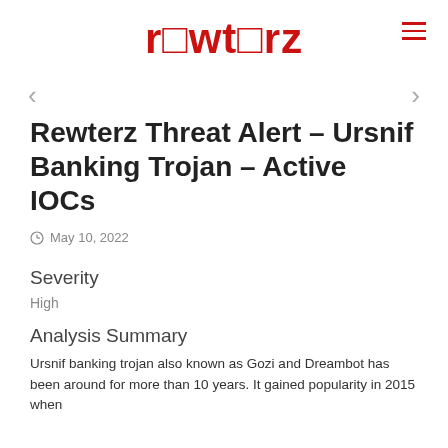rewterz
Rewterz Threat Alert – Ursnif Banking Trojan – Active IOCs
May 10, 2022
Severity
High
Analysis Summary
Ursnif banking trojan also known as Gozi and Dreambot has been around for more than 10 years. It gained popularity in 2015 when